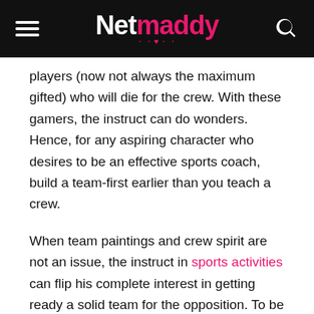Netmaddy
players (now not always the maximum gifted) who will die for the crew. With these gamers, the instruct can do wonders. Hence, for any aspiring character who desires to be an effective sports coach, build a team-first earlier than you teach a crew.
When team paintings and crew spirit are not an issue, the instruct in sports activities can flip his complete interest in getting ready a solid team for the opposition. To be successful, thorough instruction for sports competition should be the main intention of a
train when it comes to educating the crew. Thorough plans need to be made for the season, right down to whilst, and the group breaks for their low season. No information needs to